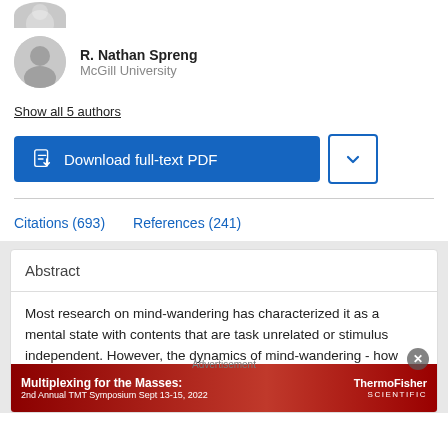[Figure (photo): Partial avatar/profile photo cropped at top]
R. Nathan Spreng
McGill University
Show all 5 authors
[Figure (other): Download full-text PDF button and dropdown chevron button]
Citations (693)    References (241)
Abstract
Most research on mind-wandering has characterized it as a mental state with contents that are task unrelated or stimulus independent. However, the dynamics of mind-wandering - how
[Figure (other): Advertisement banner: Multiplexing for the Masses: 2nd Annual TMT Symposium Sept 13-15, 2022 — ThermoFisher Scientific]